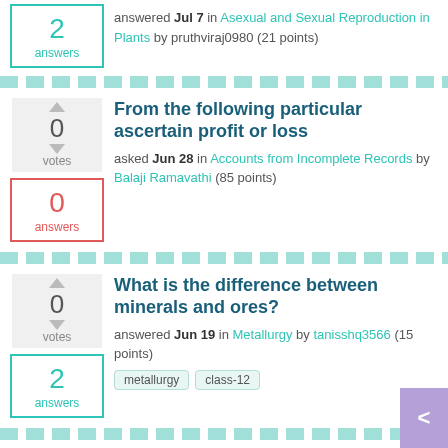answered Jul 7 in Asexual and Sexual Reproduction in Plants by pruthviraj0980 (21 points)
2 answers
From the following particular ascertain profit or loss
asked Jun 28 in Accounts from Incomplete Records by Balaji Ramavathi (85 points)
0 answers
What is the difference between minerals and ores?
answered Jun 19 in Metallurgy by tanisshq3566 (15 points)
2 answers
metallurgy   class-12
Which of the following catalyse the chemical reaction in living organisms?